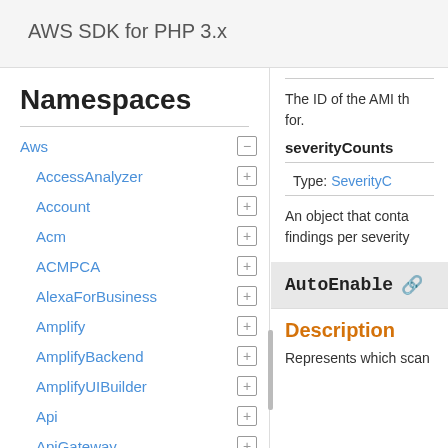AWS SDK for PHP 3.x
Namespaces
Aws
AccessAnalyzer
Account
Acm
ACMPCA
AlexaForBusiness
Amplify
AmplifyBackend
AmplifyUIBuilder
Api
ApiGateway
ApiGatewayManagementApi
The ID of the AMI th for.
severityCounts
Type: SeverityC
An object that conta findings per severity
AutoEnable
Description
Represents which scan